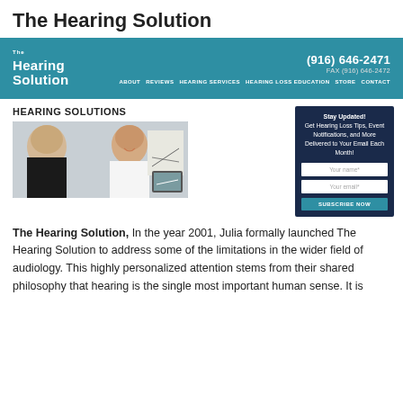The Hearing Solution
[Figure (screenshot): Website header banner for The Hearing Solution with teal background, logo, phone number (916) 646-2471, fax FAX (916) 646-2472, and navigation links: ABOUT, REVIEWS, HEARING SERVICES, HEARING LOSS EDUCATION, STORE, CONTACT]
HEARING SOLUTIONS
[Figure (photo): A female audiologist in a white coat smiling and speaking with a patient, with audiogram charts visible in the background]
[Figure (infographic): Dark navy sidebar with Stay Updated! text, Get Hearing Loss Tips, Event Notifications, and More Delivered to Your Email Each Month!, input fields for Your name* and Your email*, and a SUBSCRIBE NOW button]
The Hearing Solution, In the year 2001, Julia formally launched The Hearing Solution to address some of the limitations in the wider field of audiology. This highly personalized attention stems from their shared philosophy that hearing is the single most important human sense. It is